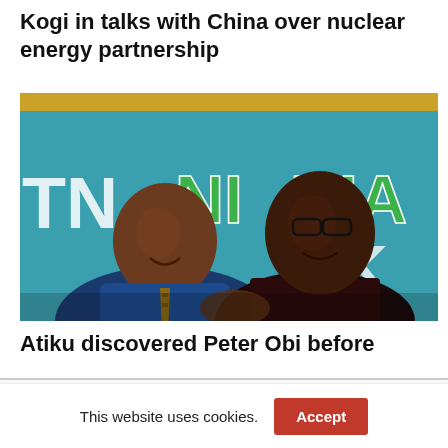Kogi in talks with China over nuclear energy partnership
[Figure (photo): Two men shaking hands in front of a blue and green banner reading 'NIGERIA WORKS'. The man on the left is wearing a blue suit with a tie, the man on the right is wearing a dark shirt.]
Atiku discovered Peter Obi before
This website uses cookies. Accept